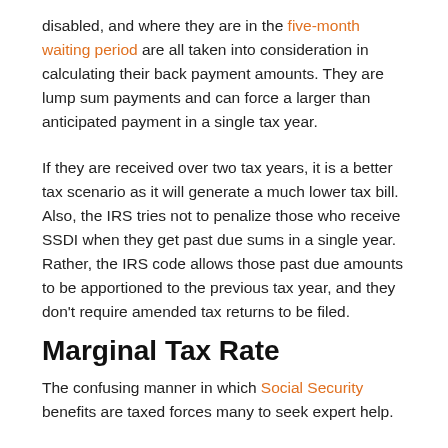disabled, and where they are in the five-month waiting period are all taken into consideration in calculating their back payment amounts. They are lump sum payments and can force a larger than anticipated payment in a single tax year.
If they are received over two tax years, it is a better tax scenario as it will generate a much lower tax bill. Also, the IRS tries not to penalize those who receive SSDI when they get past due sums in a single year. Rather, the IRS code allows those past due amounts to be apportioned to the previous tax year, and they don't require amended tax returns to be filed.
Marginal Tax Rate
The confusing manner in which Social Security benefits are taxed forces many to seek expert help.